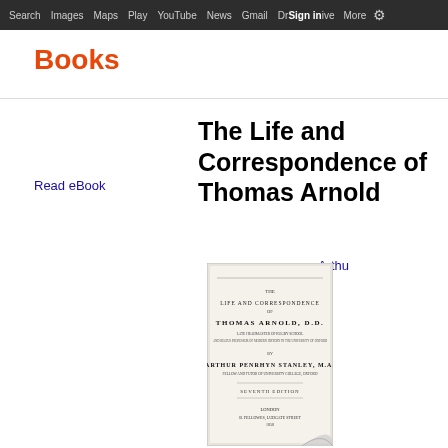Search  Images  Maps  Play  YouTube  News  Gmail  Drive  More  Sign in  ⚙
Books
The Life and Correspondence of Thomas Arnold
Read eBook
Arthu...
[Figure (photo): Scanned title page of the book 'The Life and Correspondence of Thomas Arnold, D.D.' by Arthur Penrhyn Stanley, M.A., Seventh Edition, London, B. Fellowes, Ludgate Street]